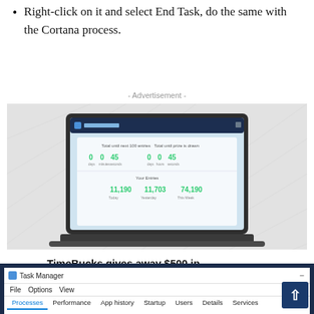Right-click on it and select End Task, do the same with the Cortana process.
- Advertisement -
[Figure (screenshot): Advertisement banner showing a laptop with TimeBucks app interface. Text reads: TimeBucks gives away $500 in sweepstakes prizes each week]
[Figure (screenshot): Windows Task Manager window showing title bar, menu (File, Options, View), and tabs: Processes, Performance, App history, Startup, Users, Details, Services]